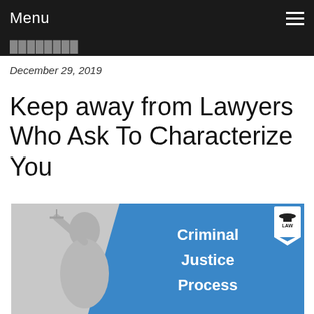Menu
December 29, 2019
Keep away from Lawyers Who Ask To Characterize You
[Figure (illustration): Infographic showing Lady Justice statue in grayscale on the left, and a blue diagonal panel on the right with text 'Criminal Justice Process' and a law school logo badge in the top right corner.]